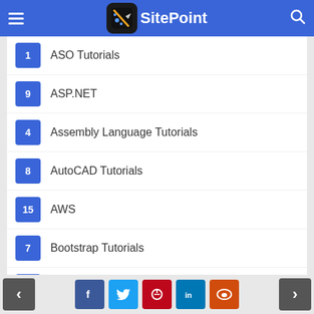SitePoint
1 ASO Tutorials
9 ASP.NET
4 Assembly Language Tutorials
8 AutoCAD Tutorials
15 AWS
7 Bootstrap Tutorials
13 C Programming Tutorials
26 C# Tutorial
18 C++ Tutorials
6 Camtasia Tutorials
1 Canvas Tutorials
< Facebook Twitter Pinterest LinkedIn Reddit >